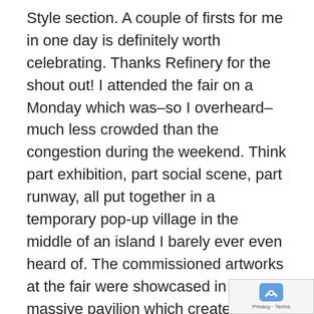Style section. A couple of firsts for me in one day is definitely worth celebrating. Thanks Refinery for the shout out! I attended the fair on a Monday which was–so I overheard–much less crowded than the congestion during the weekend. Think part exhibition, part social scene, part runway, all put together in a temporary pop-up village in the middle of an island I barely ever even heard of. The commissioned artworks at the fair were showcased in this massive pavilion which created a totally hip and cool vibe. Hip and cool like the Fat Radish serving up delicious food, the style set strutting their stuff, and the outdoor Bier Garden was carefully positioned right outside the exit just in time for happy hour. At first glance, I am dressed in, I will call this one, a one-piece-statement dress that rocks. Yeah, I can mix prints like any artist. The Olsen twins might have popularized this (fill in the blank) look